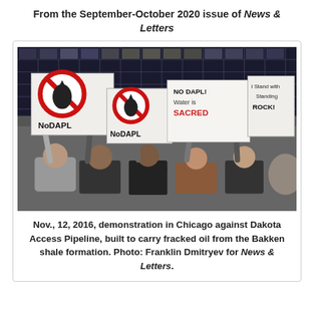From the September-October 2020 issue of News & Letters
[Figure (photo): Nov. 12, 2016 demonstration in Chicago against Dakota Access Pipeline. Protesters hold signs reading 'No DAPL', 'No DAPL! Water is SACRED', and 'I Stand With Standing Rock!' in front of a glass building.]
Nov., 12, 2016, demonstration in Chicago against Dakota Access Pipeline, built to carry fracked oil from the Bakken shale formation. Photo: Franklin Dmitryev for News & Letters.